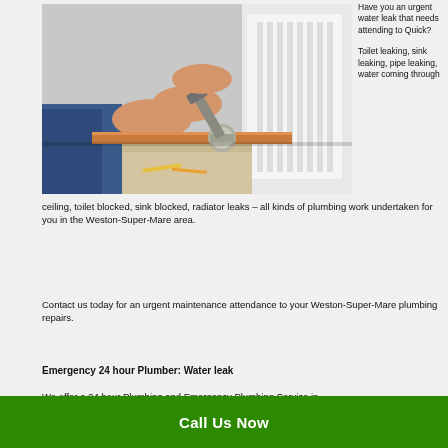[Figure (photo): A person's hands working on copper plumbing pipes near a white radiator, using a wrench on pipe fittings. Blue work clothing visible.]
Have you an urgent water leak that needs attending to Quick?
Toilet leaking, sink leaking, pipe leaking, water coming through ceiling, toilet blocked, sink blocked, radiator leaks – all kinds of plumbing work undertaken for you in the Weston-Super-Mare area.
Contact us today for an urgent maintenance attendance to your Weston-Super-Mare plumbing repairs.
Emergency 24 hour Plumber: Water leak
We offer a 24 hour Plumbing and Emergency Plumbing Service in
Call Us Now